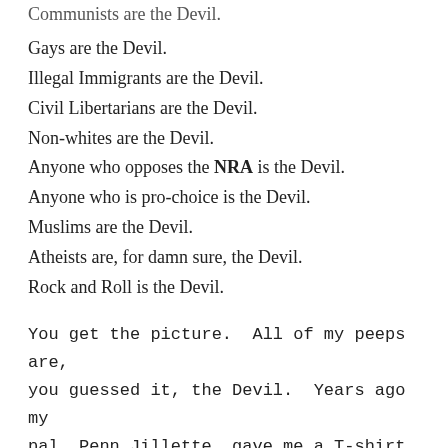Communists are the Devil.
Gays are the Devil.
Illegal Immigrants are the Devil.
Civil Libertarians are the Devil.
Non-whites are the Devil.
Anyone who opposes the NRA is the Devil.
Anyone who is pro-choice is the Devil.
Muslims are the Devil.
Atheists are, for damn sure, the Devil.
Rock and Roll is the Devil.
You get the picture. All of my peeps are, you guessed it, the Devil. Years ago my pal, Penn Jillette, gave me a T-shirt that